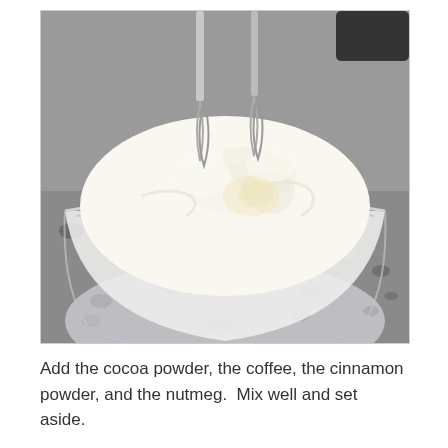[Figure (photo): A glass mixing bowl containing whipped cream being mixed with a hand mixer, sitting on a granite countertop. The cream appears fluffy and white with swirl patterns from the mixer beaters.]
Add the cocoa powder, the coffee, the cinnamon powder, and the nutmeg.  Mix well and set aside.